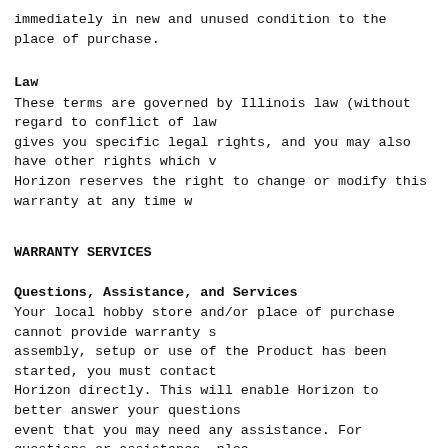immediately in new and unused condition to the place of purchase.
Law
These terms are governed by Illinois law (without regard to conflict of law gives you specific legal rights, and you may also have other rights which v Horizon reserves the right to change or modify this warranty at any time w
WARRANTY SERVICES
Questions, Assistance, and Services
Your local hobby store and/or place of purchase cannot provide warranty s assembly, setup or use of the Product has been started, you must contact Horizon directly. This will enable Horizon to better answer your questions event that you may need any assistance. For questions or assistance, plea www.horizonhobby.com, submit a Product Support Inquiry, or call 877.504 to a Product Support representative.
Inspection or Services
If this Product needs to be inspected or serviced and is compliant in the co the Product in, please use the Horizon Online Service Request submissio website or call Horizon to obtain a Return Merchandise Authorization (RM Product securely using a shipping carton. Please note that original boxes not designed to withstand the rigors of shipping without additional protect that provides tracking and insurance for lost or damaged parcels, as Horiz merchandise until it arrives and is accepted at our facility. An Online Serv at http://www.horizonhobby.com/content/_service-center_render-service